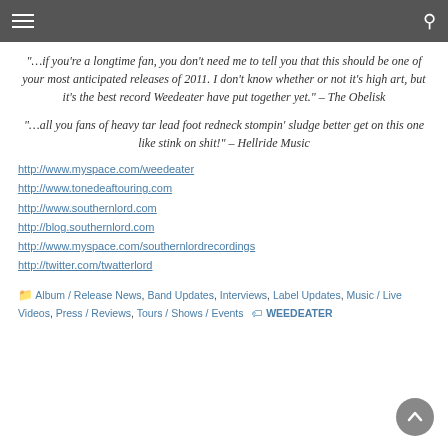“…if you’re a longtime fan, you don’t need me to tell you that this should be one of your most anticipated releases of 2011. I don’t know whether or not it’s high art, but it’s the best record Weedeater have put together yet.” – The Obelisk
“…all you fans of heavy tar lead foot redneck stompin’ sludge better get on this one like stink on shit!” – Hellride Music
http://www.myspace.com/weedeater
http://www.tonedeaftouring.com
http://www.southernlord.com
http://blog.southernlord.com
http://www.myspace.com/southernlordrecordings
http://twitter.com/twatterlord
Album / Release News, Band Updates, Interviews, Label Updates, Music / Live Videos, Press / Reviews, Tours / Shows / Events  WEEDEATER